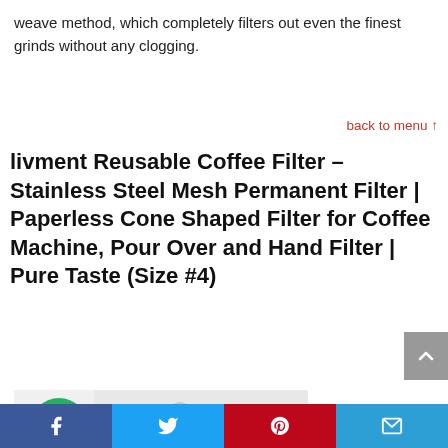weave method, which completely filters out even the finest grinds without any clogging.
back to menu ↑
livment Reusable Coffee Filter – Stainless Steel Mesh Permanent Filter | Paperless Cone Shaped Filter for Coffee Machine, Pour Over and Hand Filter | Pure Taste (Size #4)
[Figure (photo): Product image showing a coffee filter with a -48% discount badge in green circle. The product packaging shows blue and yellow elements.]
Facebook, Twitter, Pinterest, Email social share bar